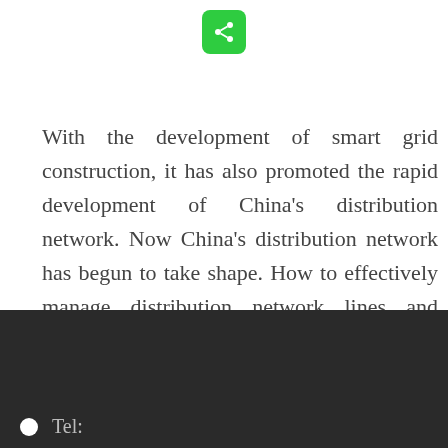[Figure (other): Green share button icon at top center of page]
With the development of smart grid construction, it has also promoted the rapid development of China's distribution network. Now China's distribution network has begun to take shape. How to effectively manage distribution network lines and improve the level of distribution network automation has become a hard work for the power sector . As one of the effective means to improve the automation level of the distribution network, the fault indicator has great market
Tel: